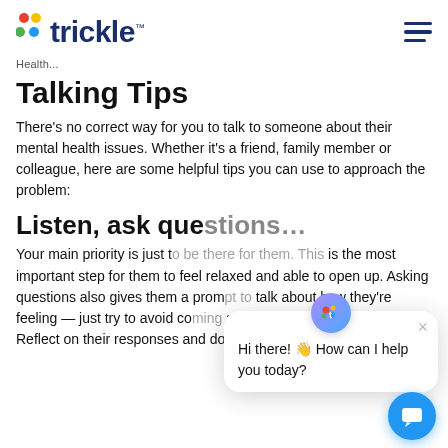trickle
Health...
Talking Tips
There's no correct way for you to talk to someone about their mental health issues. Whether it's a friend, family member or colleague, here are some helpful tips you can use to approach the problem:
Listen, ask que...
Your main priority is just t... is the most important step for them to feel relaxed and able to open up. Asking questions also gives them a prom... talk about how they're feeling — just try to avoid co... across as leading or judgmental. Reflect on their responses and don't jump to try and fix it.
[Figure (screenshot): Chat widget overlay showing trickle chat bot with message: Hi there! 👋 How can I help you today? with a close button and a blue chat button icon.]